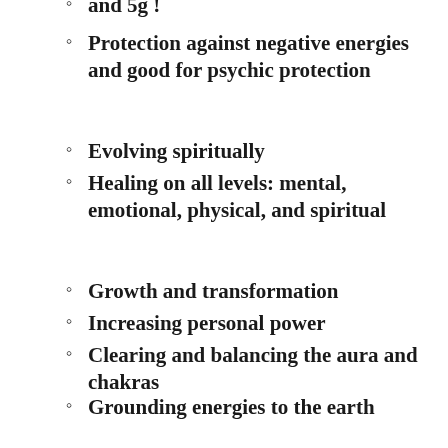and 5g !
Protection against negative energies and good for psychic protection
Evolving spiritually
Healing on all levels: mental, emotional, physical, and spiritual
Growth and transformation
Increasing personal power
Clearing and balancing the aura and chakras
Grounding energies to the earth
Boosting energy
Increasing personal power
Restores emotional balance and you will feel a lot more positive